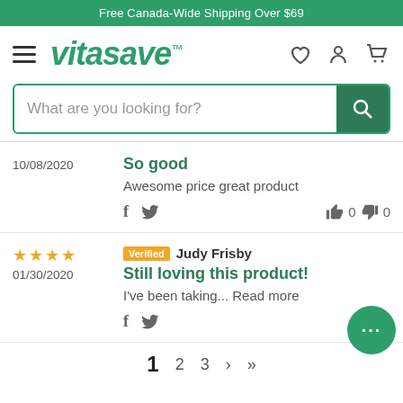Free Canada-Wide Shipping Over $69
[Figure (logo): Vitasave logo with hamburger menu and nav icons (heart, user, cart)]
[Figure (screenshot): Search bar with placeholder text 'What are you looking for?' and green search button]
10/08/2020
So good
Awesome price great product
f  🐦  👍 0  👎 0
★★★★ Verified Judy Frisby 01/30/2020
Still loving this product!
I've been taking... Read more
f  🐦  👍 0
1  2  3  ›  »